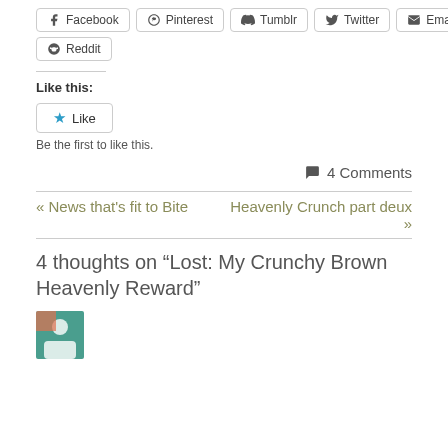Facebook
Pinterest
Tumblr
Twitter
Email
Reddit
Like this:
Like
Be the first to like this.
4 Comments
« News that's fit to Bite
Heavenly Crunch part deux »
4 thoughts on “Lost: My Crunchy Brown Heavenly Reward”
[Figure (other): User avatar thumbnail at bottom of page]